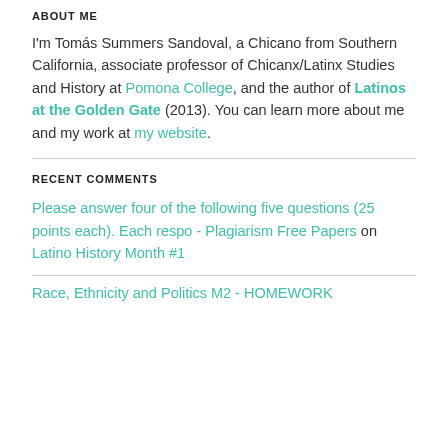ABOUT ME
I'm Tomás Summers Sandoval, a Chicano from Southern California, associate professor of Chicanx/Latinx Studies and History at Pomona College, and the author of Latinos at the Golden Gate (2013). You can learn more about me and my work at my website.
RECENT COMMENTS
Please answer four of the following five questions (25 points each). Each respo - Plagiarism Free Papers on Latino History Month #1
Race, Ethnicity and Politics M2 - HOMEWORK